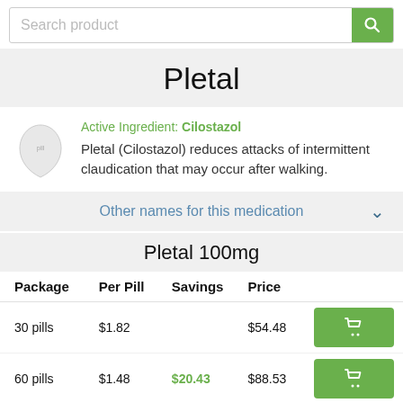Search product
Pletal
Active Ingredient: Cilostazol
Pletal (Cilostazol) reduces attacks of intermittent claudication that may occur after walking.
Other names for this medication
Pletal 100mg
| Package | Per Pill | Savings | Price |  |
| --- | --- | --- | --- | --- |
| 30 pills | $1.82 |  | $54.48 | cart |
| 60 pills | $1.48 | $20.43 | $88.53 | cart |